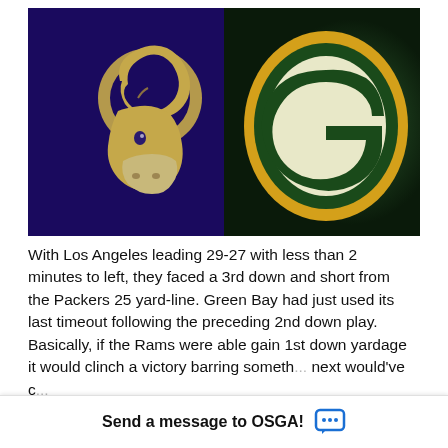[Figure (illustration): Split image showing Los Angeles Rams logo (left half, purple background with gold ram head) and Green Bay Packers logo (right half, dark green background with gold and white oval G logo)]
With Los Angeles leading 29-27 with less than 2 minutes to left, they faced a 3rd down and short from the Packers 25 yard-line. Green Bay had just used its last timeout following the preceding 2nd down play. Basically, if the Rams were able gain 1st down yardage it would clinch a victory barring someth... next would've c...
Send a message to OSGA!